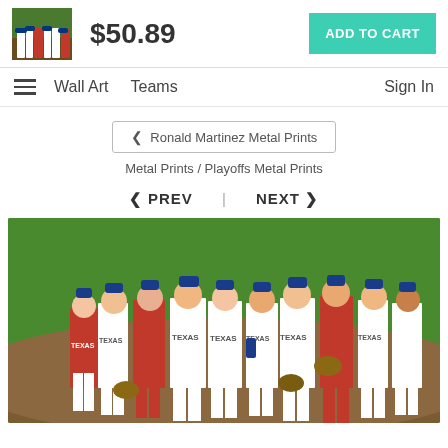[Figure (screenshot): E-commerce product page showing a metal print of Texas Rangers baseball players celebrating on the field. Price shown is $50.89 with an Add to Cart button. Navigation includes Wall Art, Teams, and Sign In links. Breadcrumb shows Ronald Martinez Metal Prints > Metal Prints / Playoffs Metal Prints. Prev/Next navigation present. Large photo shows multiple Texas Rangers players in white uniforms shaking hands/celebrating.]
$50.89
ADD TO CART
Wall Art   Teams   Sign In
Ronald Martinez Metal Prints
Metal Prints / Playoffs Metal Prints
< PREV  |  NEXT >